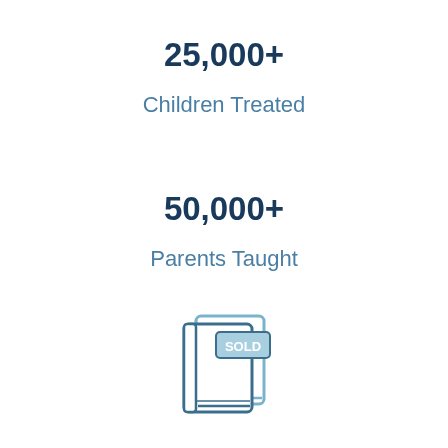25,000+
Children Treated
50,000+
Parents Taught
[Figure (illustration): Icon of stacked books with a 'SOLD' tag, rendered in light blue outline style]